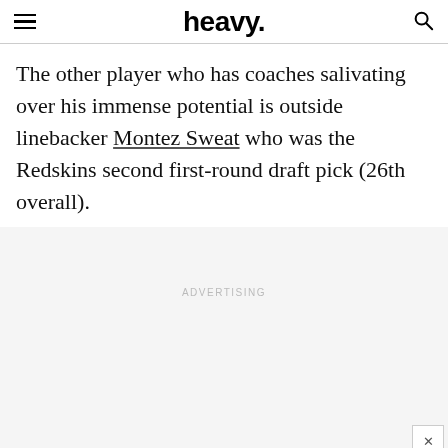heavy.
The other player who has coaches salivating over his immense potential is outside linebacker Montez Sweat who was the Redskins second first-round draft pick (26th overall).
ADVERTISING